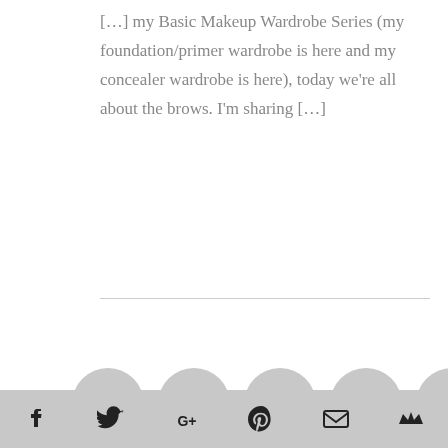[…] my Basic Makeup Wardrobe Series (my foundation/primer wardrobe is here and my concealer wardrobe is here), today we're all about the brows.  I'm sharing […]
[Figure (infographic): Five gray social media icon circles: Twitter, Facebook, YouTube, Instagram, Pinterest]
HI, I'M SARAH BLODGETT
Social share bar with icons: Facebook, Twitter, Google+, Pinterest, Email, Crown/Bloglovin